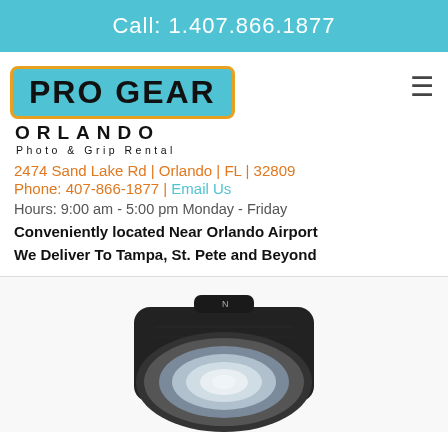Call: 1.407.866.1877
[Figure (logo): Pro Gear Orlando Photo & Grip Rental logo with teal background and orange border]
2474 Sand Lake Rd | Orlando | FL | 32809
Phone: 407-866-1877 | Email Us
Hours: 9:00 am - 5:00 pm Monday - Friday
Conveniently located Near Orlando Airport
We Deliver To Tampa, St. Pete and Beyond
[Figure (photo): Photography flash unit / strobe light, black housing with circular reflector, viewed from front-angle]